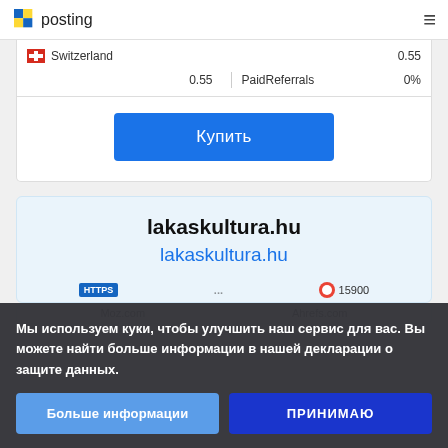pr posting
| Country | Value | Category | Percentage |
| --- | --- | --- | --- |
| Switzerland | 0.55 | PaidReferrals | 0% |
Купить
lakaskultura.hu
lakaskultura.hu
Мы используем куки, чтобы улучшить наш сервис для вас. Вы можете найти больше информации в нашей декларации о защите данных.
Больше информации
ПРИНИМАЮ
Moz.com
Ahrefs.com